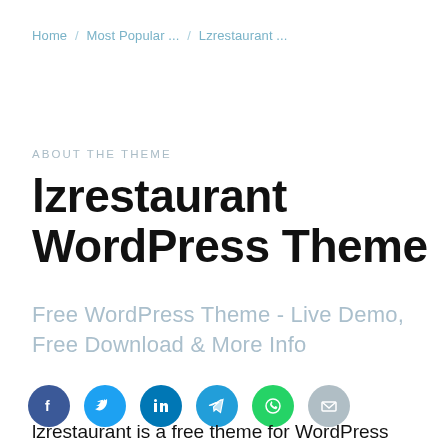Home / Most Popular ... / Lzrestaurant ...
ABOUT THE THEME
lzrestaurant WordPress Theme
Free WordPress Theme - Live Demo, Free Download & More Info
[Figure (other): Social share icons: Facebook, Twitter, LinkedIn, Telegram, WhatsApp, Email]
lzrestaurant is a free theme for WordPress